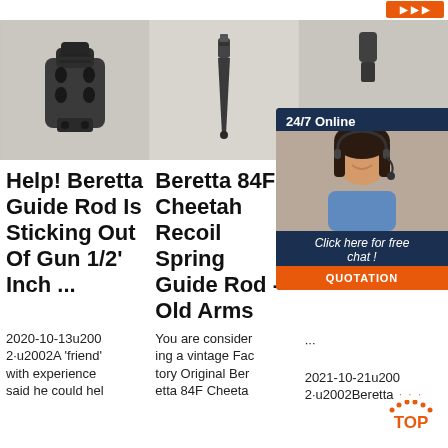[Figure (photo): Gun muzzle brake/compensator part, dark metal, on light background]
[Figure (photo): Beretta 84F recoil spring guide rod, thin pointed metal piece, on light background]
[Figure (photo): Beretta stainless steel guide rod, partially obscured by chat widget overlay]
Help! Beretta Guide Rod Is Sticking Out Of Gun 1/2' Inch ...
Beretta 84F Cheetah Recoil Spring Guide Rod - Old Arms
Beretta Stainless Steel Guide Rod Stainless Steel Guide
2020-10-13u2002·u2002A 'friend' with experience said he could hel
You are considering a vintage Factory Original Beretta 84F Cheeta
... 2021-10-21u2002·u2002Beretta